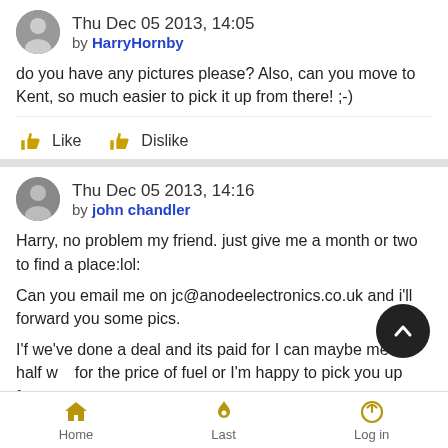Thu Dec 05 2013, 14:05 by HarryHornby
do you have any pictures please? Also, can you move to Kent, so much easier to pick it up from there! ;-)
Like  Dislike
Thu Dec 05 2013, 14:16 by john chandler
Harry, no problem my friend. just give me a month or two to find a place:lol:

Can you email me on jc@anodeelectronics.co.uk and i'll forward you some pics.

I'f we've done a deal and its paid for I can maybe meet half w... for the price of fuel or I'm happy to pick you up from
Home  Last  Log in